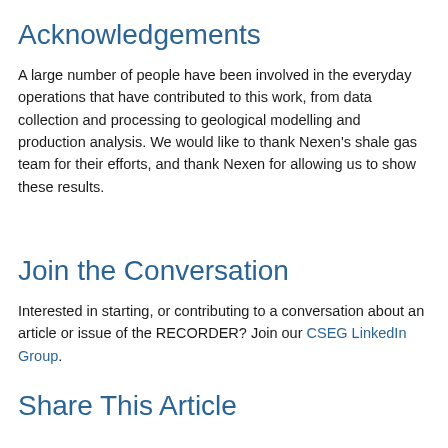Acknowledgements
A large number of people have been involved in the everyday operations that have contributed to this work, from data collection and processing to geological modelling and production analysis. We would like to thank Nexen’s shale gas team for their efforts, and thank Nexen for allowing us to show these results.
Join the Conversation
Interested in starting, or contributing to a conversation about an article or issue of the RECORDER? Join our CSEG LinkedIn Group.
Share This Article